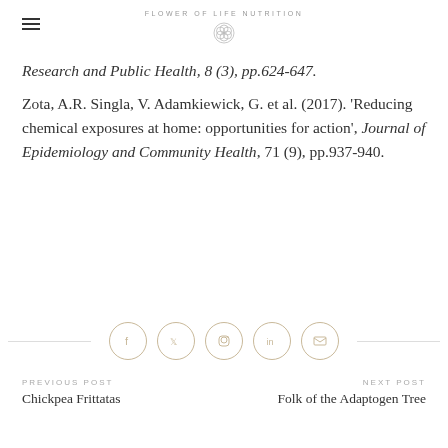FLOWER OF LIFE NUTRITION
Research and Public Health, 8 (3), pp.624-647.
Zota, A.R. Singla, V. Adamkiewick, G. et al. (2017). 'Reducing chemical exposures at home: opportunities for action', Journal of Epidemiology and Community Health, 71 (9), pp.937-940.
[Figure (other): Social sharing icons: Facebook, Twitter, Pinterest, LinkedIn, Email]
PREVIOUS POST
Chickpea Frittatas

NEXT POST
Folk of the Adaptogen Tree